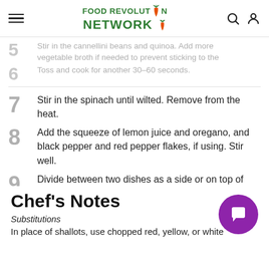Food Revolution Network
5  Stir in the cannellini beans and quinoa. Add more vegetable broth if needed to prevent sticking to the
6  Toss and cook for another 30–60 seconds.
7  Stir in the spinach until wilted. Remove from the heat.
8  Add the squeeze of lemon juice and oregano, and black pepper and red pepper flakes, if using. Stir well.
9  Divide between two dishes as a side or on top of spring greens. Sprinkle with nutritional yeast and chopped basil, if desired.
Chef's Notes
Substitutions
In place of shallots, use chopped red, yellow, or white